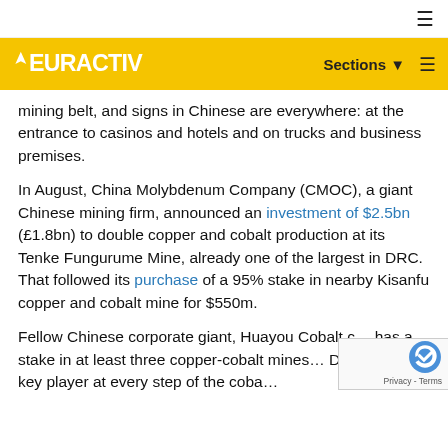EURACTIV — Sections
mining belt, and signs in Chinese are everywhere: at the entrance to casinos and hotels and on trucks and business premises.
In August, China Molybdenum Company (CMOC), a giant Chinese mining firm, announced an investment of $2.5bn (£1.8bn) to double copper and cobalt production at its Tenke Fungurume Mine, already one of the largest in DRC. That followed its purchase of a 95% stake in nearby Kisanfu copper and cobalt mine for $550m.
Fellow Chinese corporate giant, Huayou Cobalt c... has a stake in at least three copper-cobalt mines... DRC and is a key player at every step of the coba...